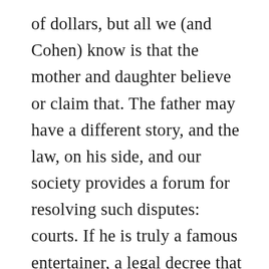of dollars, but all we (and Cohen) know is that the mother and daughter believe or claim that. The father may have a different story, and the law, on his side, and our society provides a forum for resolving such disputes: courts. If he is truly a famous entertainer, a legal decree that he is stiffing his wife and daughter would not be a smart PR move. My guess is that the obligation the daughter refers to is a matter of dispute that has either